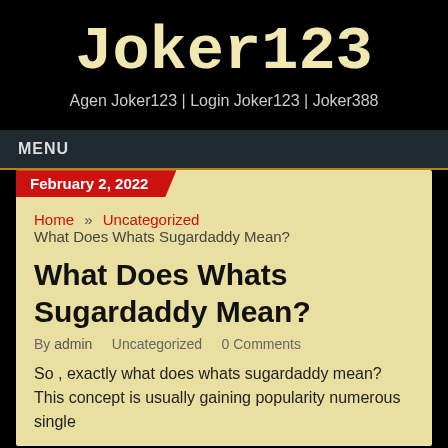Joker123
Agen Joker123 | Login Joker123 | Joker388
MENU
February 2, 2022
Home   Uncategorized   What Does Whats Sugardaddy Mean?
What Does Whats Sugardaddy Mean?
By admin   Uncategorized   0 Comments
So , exactly what does whats sugardaddy mean? This concept is usually gaining popularity numerous single